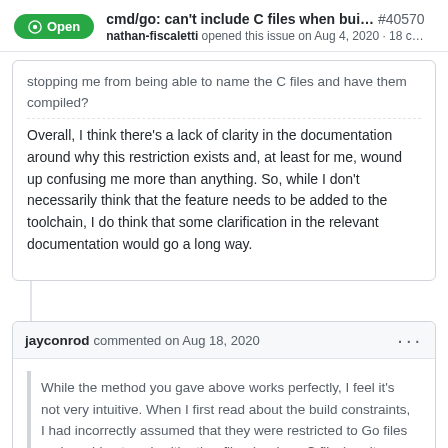cmd/go: can't include C files when bui... #40570
nathan-fiscaletti opened this issue on Aug 4, 2020 · 18 c...
stopping me from being able to name the C files and have them compiled?

Overall, I think there's a lack of clarity in the documentation around why this restriction exists and, at least for me, wound up confusing me more than anything. So, while I don't necessarily think that the feature needs to be added to the toolchain, I do think that some clarification in the relevant documentation would go a long way.
jayconrod commented on Aug 18, 2020
While the method you gave above works perfectly, I feel it's not very intuitive. When I first read about the build constraints, I had incorrectly assumed that they were restricted to Go files and would not work with other files (such as C files) as it didn't explicitly state otherwise.